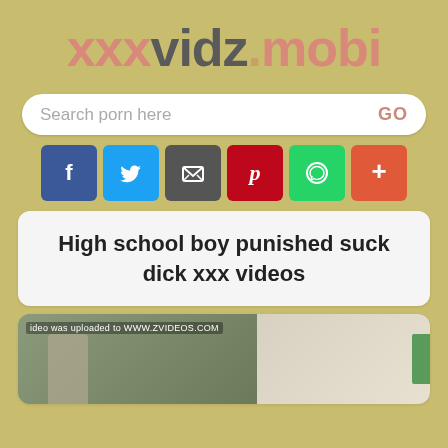xxxvidz.mobi
Search porn here
[Figure (screenshot): Social share buttons: Facebook, Twitter, Email, Pinterest, WhatsApp, Plus]
High school boy punished suck dick xxx videos
[Figure (screenshot): Video thumbnail with watermark 'ideo was uploaded to WWW.ZVIDEOS.COM' showing a person in a room]